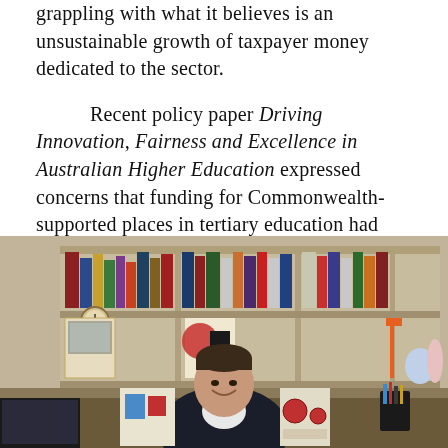grappling with what it believes is an unsustainable growth of taxpayer money dedicated to the sector.
Recent policy paper Driving Innovation, Fairness and Excellence in Australian Higher Education expressed concerns that funding for Commonwealth-supported places in tertiary education had grown by 59 per cent since 2009, while GDP had only grown by 29 per cent in the same timeframe.
[Figure (photo): A smiling man in a dark suit and white shirt sits at a desk in front of a bookshelf filled with books and decorative items.]